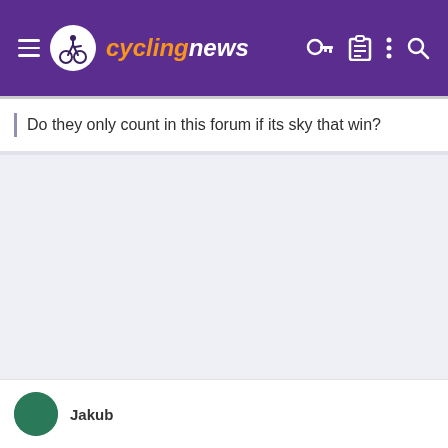cyclingnews
Do they only count in this forum if its sky that win?
Jakub